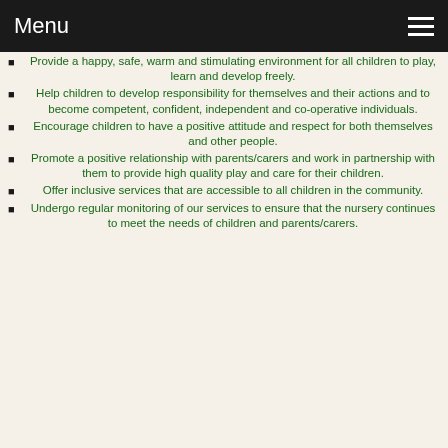Menu
Provide a happy, safe, warm and stimulating environment for all children to play, learn and develop freely.
Help children to develop responsibility for themselves and their actions and to become competent, confident, independent and co-operative individuals.
Encourage children to have a positive attitude and respect for both themselves and other people.
Promote a positive relationship with parents/carers and work in partnership with them to provide high quality play and care for their children.
Offer inclusive services that are accessible to all children in the community.
Undergo regular monitoring of our services to ensure that the nursery continues to meet the needs of children and parents/carers.